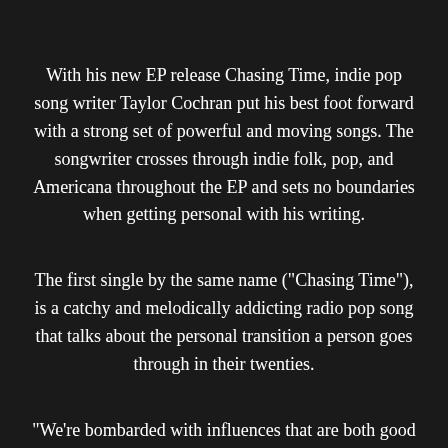With his new EP release Chasing Time, indie pop song writer Taylor Cochran put his best foot forward with a strong set of powerful and moving songs. The songwriter crosses through indie folk, pop, and Americana throughout the EP and sets no boundaries when getting personal with his writing.
The first single by the same name ("Chasing Time"), is a catchy and melodically addicting radio pop song that talks about the personal transition a person goes through in their twenties.
"We're bombarded with influences that are both good and